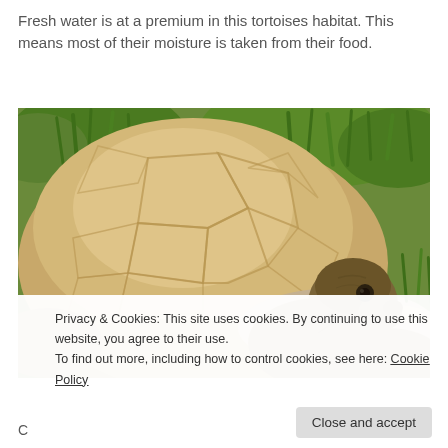Fresh water is at a premium in this tortoises habitat. This means most of their moisture is taken from their food.
[Figure (photo): Close-up photograph of a large tortoise with a domed tan/beige shell, turning its head toward the camera. Green grass visible in the background and rocks to the right.]
Privacy & Cookies: This site uses cookies. By continuing to use this website, you agree to their use.
To find out more, including how to control cookies, see here: Cookie Policy
Close and accept